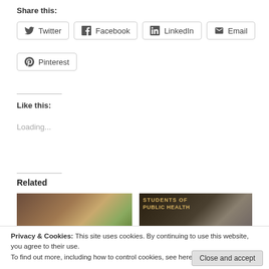Share this:
Twitter
Facebook
LinkedIn
Email
Pinterest
Like this:
Loading...
Related
[Figure (photo): Related article thumbnail - left, outdoor scene with person]
[Figure (photo): Related article thumbnail - right, dark background with text 'STUDENTS OF PUBLIC HEALTH']
Privacy & Cookies: This site uses cookies. By continuing to use this website, you agree to their use.
To find out more, including how to control cookies, see here: Cookie Policy
Close and accept
Film
Pursue a Career in Public